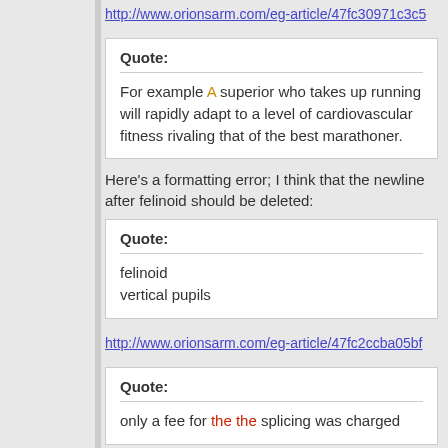http://www.orionsarm.com/eg-article/47fc30971c3c5
Quote: For example A superior who takes up running will rapidly adapt to a level of cardiovascular fitness rivaling that of the best marathoner.
Here's a formatting error; I think that the newline after felinoid should be deleted:
Quote: felinoid vertical pupils
http://www.orionsarm.com/eg-article/47fc2ccba05bf
Quote: only a fee for the the splicing was charged